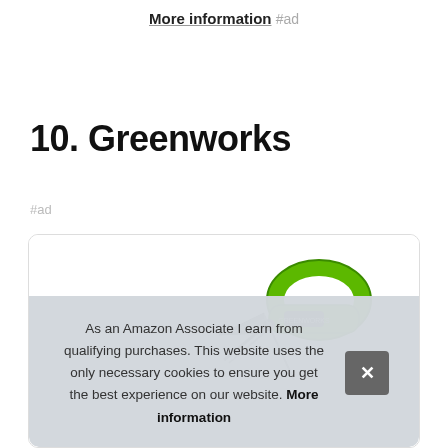More information #ad
10. Greenworks
#ad
[Figure (photo): Greenworks garden tool with green handle, partially visible in a product card]
As an Amazon Associate I earn from qualifying purchases. This website uses the only necessary cookies to ensure you get the best experience on our website. More information